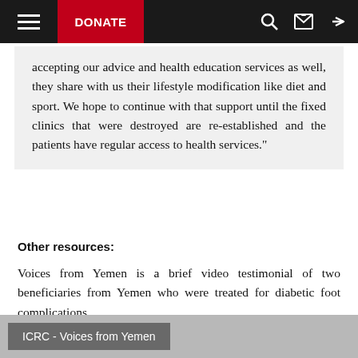≡   DONATE   🔍   ✉   ➦
accepting our advice and health education services as well, they share with us their lifestyle modification like diet and sport. We hope to continue with that support until the fixed clinics that were destroyed are re-established and the patients have regular access to health services."
Other resources:
Voices from Yemen is a brief video testimonial of two beneficiaries from Yemen who were treated for diabetic foot complications.
[Figure (screenshot): Video thumbnail with gray background and text label 'ICRC - Voices from Yemen']